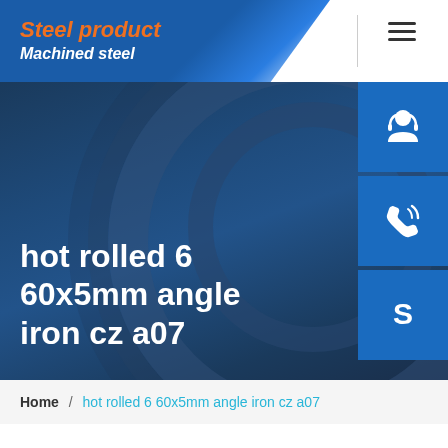Steel product / Machined steel
hot rolled 6 60x5mm angle iron cz a07
[Figure (screenshot): Website header with blue banner logo showing 'Steel product' in orange italic and 'Machined steel' in white italic bold, hamburger menu icon on right, three blue side buttons with icons (customer service headphones, phone, Skype 'S' logo)]
Home / hot rolled 6 60x5mm angle iron cz a07